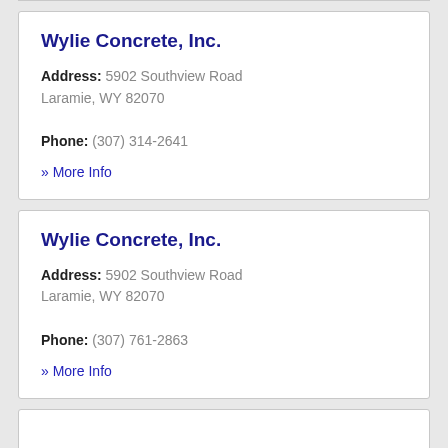Wylie Concrete, Inc.
Address: 5902 Southview Road Laramie, WY 82070
Phone: (307) 314-2641
» More Info
Wylie Concrete, Inc.
Address: 5902 Southview Road Laramie, WY 82070
Phone: (307) 761-2863
» More Info